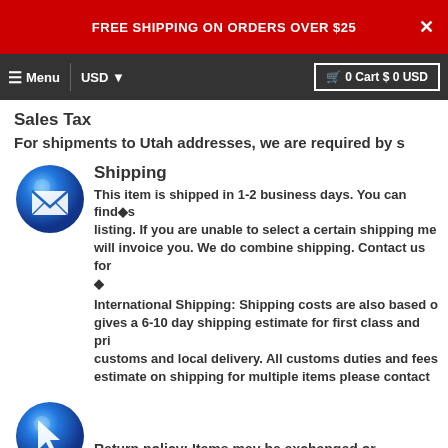FREE SHIPPING ON ORDERS OVER $25
Menu | USD | 0 Cart $ 0 USD
Sales Tax
For shipments to Utah addresses, we are required by s
[Figure (illustration): Blue glossy circle icon with mail/envelope symbol]
Shipping
This item is shipped in 1-2 business days. You can find�s listing. If you are unable to select a certain shipping me will invoice you. We do combine shipping. Contact us for �
International Shipping: Shipping costs are also based o gives a 6-10 day shipping estimate for first class and pri customs and local delivery. All customs duties and fees estimate on shipping for multiple items please contact
[Figure (illustration): Blue glossy circle icon with cursor/mouse symbol]
Return policy: Items may be exchanged or returned. Ite